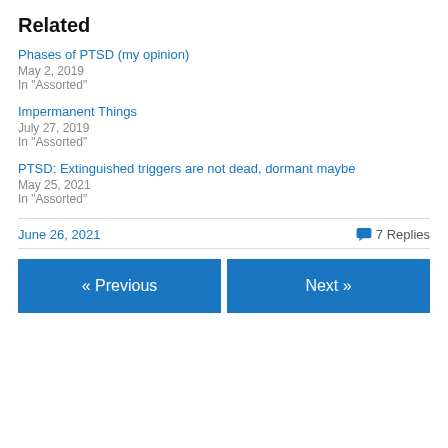Related
Phases of PTSD (my opinion)
May 2, 2019
In "Assorted"
Impermanent Things
July 27, 2019
In "Assorted"
PTSD: Extinguished triggers are not dead, dormant maybe
May 25, 2021
In "Assorted"
June 26, 2021    7 Replies
« Previous    Next »